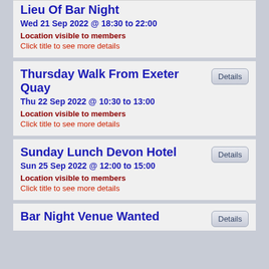Lieu Of Bar Night
Wed 21 Sep 2022 @ 18:30 to 22:00
Location visible to members
Click title to see more details
Thursday Walk From Exeter Quay
Thu 22 Sep 2022 @ 10:30 to 13:00
Location visible to members
Click title to see more details
Sunday Lunch Devon Hotel
Sun 25 Sep 2022 @ 12:00 to 15:00
Location visible to members
Click title to see more details
Bar Night Venue Wanted